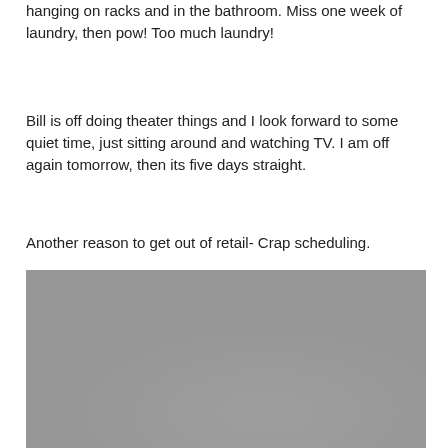hanging on racks and in the bathroom. Miss one week of laundry, then pow! Too much laundry!
Bill is off doing theater things and I look forward to some quiet time, just sitting around and watching TV. I am off again tomorrow, then its five days straight.
Another reason to get out of retail- Crap scheduling.
[Figure (photo): A grey/neutral colored photograph, content not clearly distinguishable due to low contrast.]